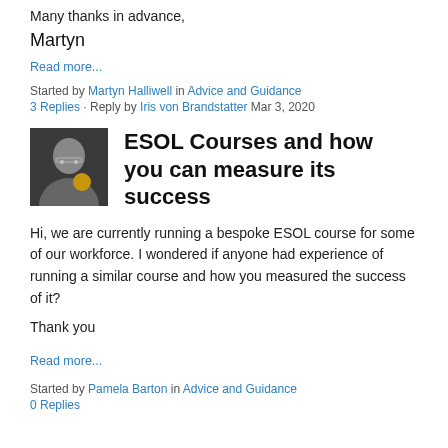Many thanks in advance,
Martyn
Read more...
Started by Martyn Halliwell in Advice and Guidance
3 Replies · Reply by Iris von Brandstatter Mar 3, 2020
[Figure (photo): Small avatar photo of a person with glasses]
ESOL Courses and how you can measure its success
Hi, we are currently running a bespoke ESOL course for some of our workforce.  I wondered if anyone had experience of running a similar course and how you measured the success of it?
Thank you
Read more...
Started by Pamela Barton in Advice and Guidance
0 Replies